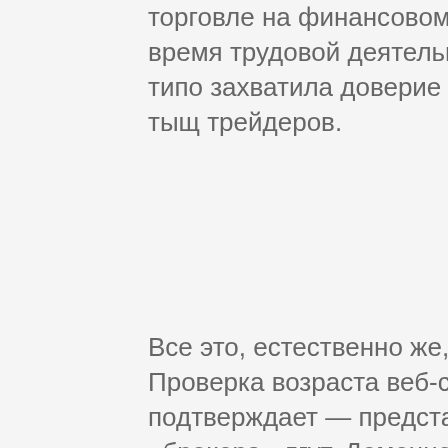торговле на финансовом рынке с года. За время трудовой деятельности компания типо захватила доверие наиболее 10 тыщ трейдеров.
Все это, естественно же, вранье. Проверка возраста веб-сайта подтверждает — представители «брокера» лгут. Доменное имя EspeRio. На местности РФ веб-сайт аферистов уже заблокирован по распоряжению Генпрокуратуры. Раздела «Контакты» на веб-сайте нет. Связаться со службой тоуподдержки можно